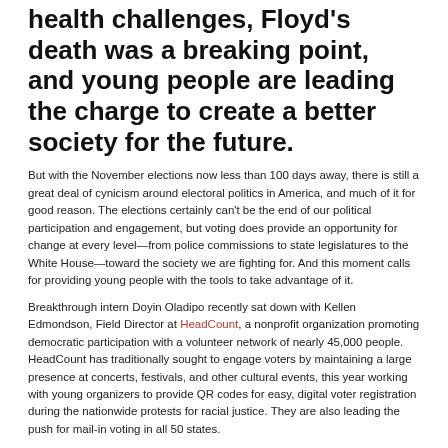health challenges, Floyd's death was a breaking point, and young people are leading the charge to create a better society for the future.
But with the November elections now less than 100 days away, there is still a great deal of cynicism around electoral politics in America, and much of it for good reason. The elections certainly can't be the end of our political participation and engagement, but voting does provide an opportunity for change at every level—from police commissions to state legislatures to the White House—toward the society we are fighting for. And this moment calls for providing young people with the tools to take advantage of it.
Breakthrough intern Doyin Oladipo recently sat down with Kellen Edmondson, Field Director at HeadCount, a nonprofit organization promoting democratic participation with a volunteer network of nearly 45,000 people. HeadCount has traditionally sought to engage voters by maintaining a large presence at concerts, festivals, and other cultural events, this year working with young organizers to provide QR codes for easy, digital voter registration during the nationwide protests for racial justice. They are also leading the push for mail-in voting in all 50 states.
In this interview, Doyin and Kellen discuss mobilizing youth, people of color, and the LGBTQ+ community to vote in the upcoming elections.
The interview has been condensed and edited for clarity.
Doyin: I'm super excited to get into this conversation about your role in mobilizing youth